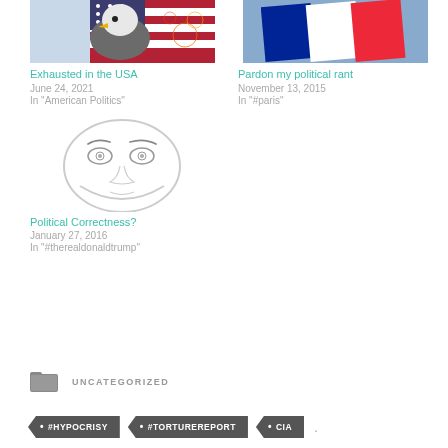[Figure (photo): Bald eagle with American flag in background]
Exhausted in the USA
June 24, 2021
In "American Politics"
[Figure (photo): French tricolor flag against blue sky]
Pardon my political rant
November 13, 2015
In "#paris"
[Figure (illustration): Simple line drawing of a human face]
Political Correctness?
January 27, 2016
In "#therealdonaldtrump"
UNCATEGORIZED
• #HYPOCRISY
• #TORTUREREPORT
• CIA